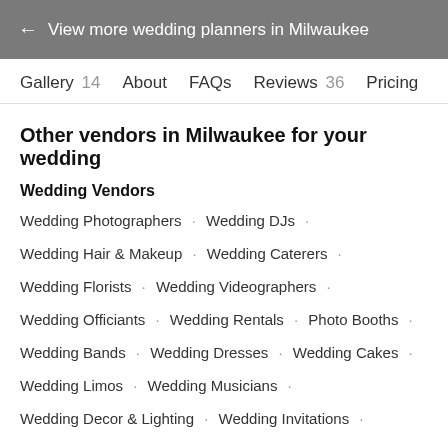← View more wedding planners in Milwaukee
Gallery 14   About   FAQs   Reviews 36   Pricing
Other vendors in Milwaukee for your wedding
Wedding Vendors
Wedding Photographers · Wedding DJs ·
Wedding Hair & Makeup · Wedding Caterers ·
Wedding Florists · Wedding Videographers ·
Wedding Officiants · Wedding Rentals · Photo Booths ·
Wedding Bands · Wedding Dresses · Wedding Cakes ·
Wedding Limos · Wedding Musicians ·
Wedding Decor & Lighting · Wedding Invitations ·